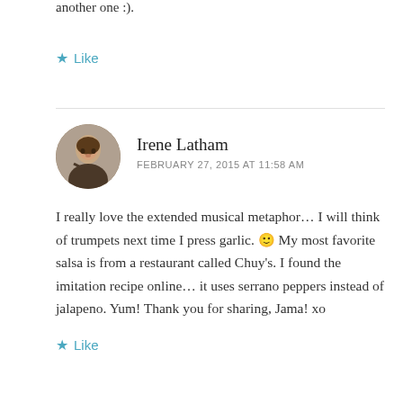another one :).
★ Like
Irene Latham
FEBRUARY 27, 2015 AT 11:58 AM
I really love the extended musical metaphor… I will think of trumpets next time I press garlic. 🙂 My most favorite salsa is from a restaurant called Chuy's. I found the imitation recipe online… it uses serrano peppers instead of jalapeno. Yum! Thank you for sharing, Jama! xo
★ Like